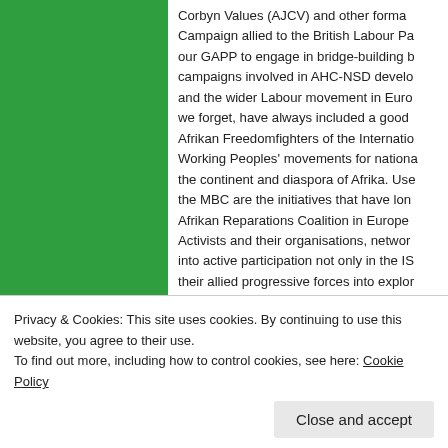Corbyn Values (AJCV) and other forma... Campaign allied to the British Labour Pa... our GAPP to engage in bridge-building b... campaigns involved in AHC-NSD develo... and the wider Labour movement in Euro... we forget, have always included a good ... Afrikan Freedomfighters of the Internatio... Working Peoples' movements for nationa... the continent and diaspora of Afrika. Use... the MBC are the initiatives that have lon... Afrikan Reparations Coalition in Europe ... Activists and their organisations, networ... into active participation not only in the IS... their allied progressive forces into explo... renewal Communities of Anti-Racist Res... combativeness against Afrinbobia and a...
Privacy & Cookies: This site uses cookies. By continuing to use this website, you agree to their use.
To find out more, including how to control cookies, see here: Cookie Policy